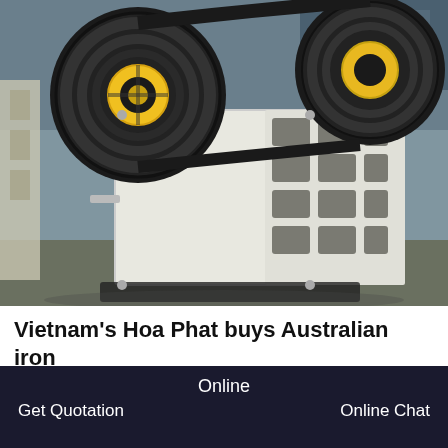[Figure (photo): Industrial jaw crusher machine with large black and yellow flywheels, white metal frame with ribbed side panels, photographed in a factory/warehouse setting]
Vietnam's Hoa Phat buys Australian iron
Jun 02, 2021 Vietnamese steel producer Hoa Phat has bought Australia's Ro[icon]r Valley iron ore project in the
Online | Get Quotation | Online Chat